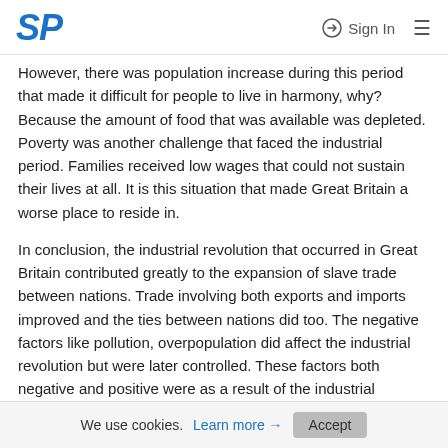SP | Sign In
However, there was population increase during this period that made it difficult for people to live in harmony, why? Because the amount of food that was available was depleted. Poverty was another challenge that faced the industrial period. Families received low wages that could not sustain their lives at all. It is this situation that made Great Britain a worse place to reside in.
In conclusion, the industrial revolution that occurred in Great Britain contributed greatly to the expansion of slave trade between nations. Trade involving both exports and imports improved and the ties between nations did too. The negative factors like pollution, overpopulation did affect the industrial revolution but were later controlled. These factors both negative and positive were as a result of the industrial revolution in Great Britain.
We use cookies. Learn more → Accept